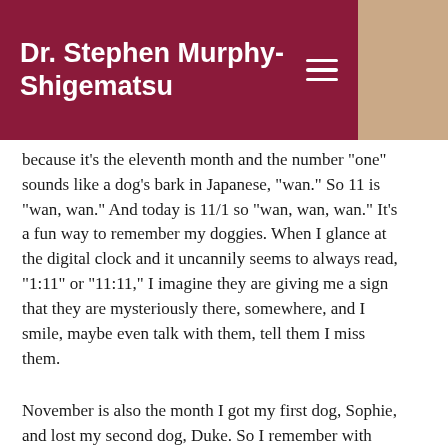Dr. Stephen Murphy-Shigematsu
because it's the eleventh month and the number "one" sounds like a dog's bark in Japanese, "wan." So 11 is "wan, wan." And today is 11/1 so "wan, wan, wan." It's a fun way to remember my doggies. When I glance at the digital clock and it uncannily seems to always read, "1:11" or "11:11," I imagine they are giving me a sign that they are mysteriously there, somewhere, and I smile, maybe even talk with them, tell them I miss them.
November is also the month I got my first dog, Sophie, and lost my second dog, Duke. So I remember with tears of sadness, and joy, tears of gratitude. Those were the good old